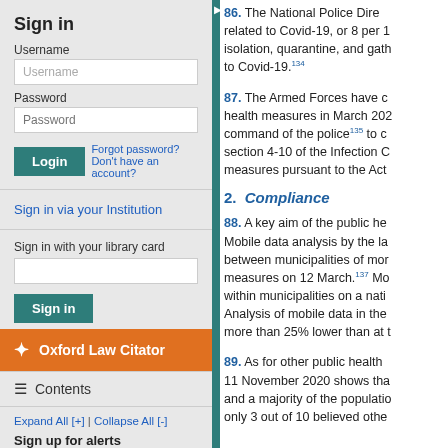Sign in
Username
Password
Forgot password? Don't have an account?
Sign in via your Institution
Sign in with your library card
Oxford Law Citator
Contents
Expand All [+] | Collapse All [-]
Sign up for alerts
86. The National Police Directorate related to Covid-19, or 8 per isolation, quarantine, and gath to Covid-19.134
87. The Armed Forces have health measures in March 202 command of the police135 to section 4-10 of the Infection C measures pursuant to the Act
2. Compliance
88. A key aim of the public he Mobile data analysis by the la between municipalities of mor measures on 12 March.137 M within municipalities on a nati Analysis of mobile data in the more than 25% lower than at
89. As for other public health 11 November 2020 shows tha and a majority of the populatio only 3 out of 10 believed othe